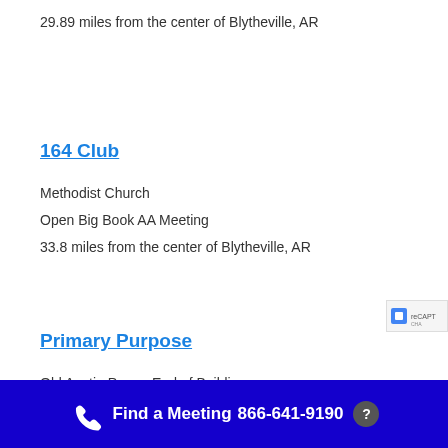29.89 miles from the center of Blytheville, AR
164 Club
Methodist Church
Open Big Book AA Meeting
33.8 miles from the center of Blytheville, AR
Primary Purpose
Old Austin Peay - End of Building
Find a Meeting  866-641-9190